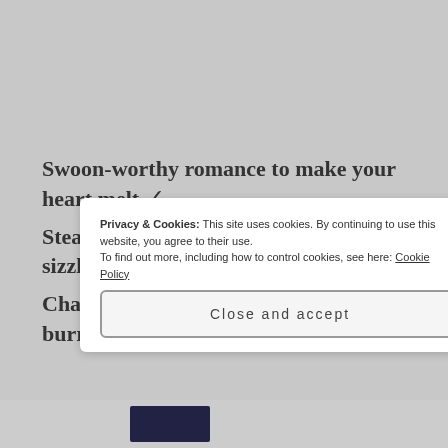Swoon-worthy romance to make your heart melt ✓
Steamy passion that makes your kindle sizzle and the girly bits tingle ✓
Characters that leap off the pages and burrow into your heart ✓
Privacy & Cookies: This site uses cookies. By continuing to use this website, you agree to their use. To find out more, including how to control cookies, see here: Cookie Policy
Close and accept